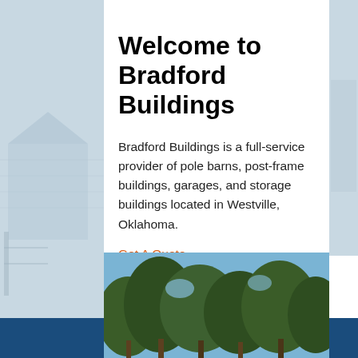[Figure (photo): Faded background photo of a pole barn / post-frame building on left and right sides of the page]
Welcome to Bradford Buildings
Bradford Buildings is a full-service provider of pole barns, post-frame buildings, garages, and storage buildings located in Westville, Oklahoma.
Get A Quote
[Figure (photo): Photo of trees with blue sky visible through branches, bottom portion of page]